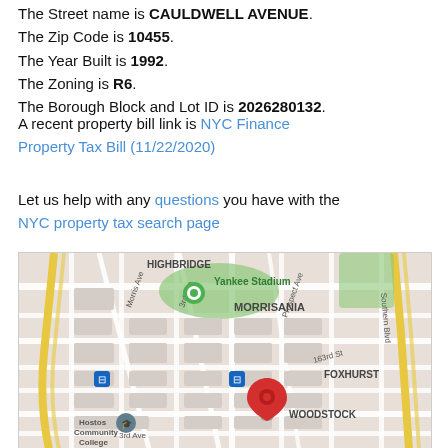The Street name is CAULDWELL AVENUE.
The Zip Code is 10455.
The Year Built is 1992.
The Zoning is R6.
The Borough Block and Lot ID is 2026280132.
A recent property bill link is NYC Finance Property Tax Bill (11/22/2020)
Let us help with any questions you have with the NYC property tax search page
[Figure (map): Google Maps screenshot showing the Bronx, NY area with neighborhoods HIGHBRIDGE, MORRISANIA, FOXHURST, WOODSTOCK visible. Yankee Stadium labeled with green pin. A red location pin marks a property on Cauldwell Avenue near 163rd St. Hostos Community College shown at bottom left. Morris Ave, 3rd Ave, Prospect Ave, Southern Blvd visible. Two blue transit icons shown.]